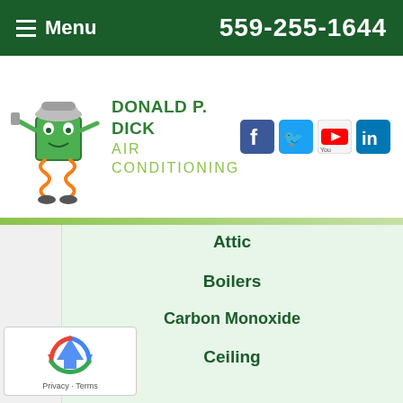Menu  559-255-1644
[Figure (logo): Donald P. Dick Air Conditioning logo with mascot character holding tools, company name in green]
Attic
Boilers
Carbon Monoxide
Ceiling
CO Detectors
Dehumidifiers
Dryer Vent
Dual Fuel Systems
Duct Sealing